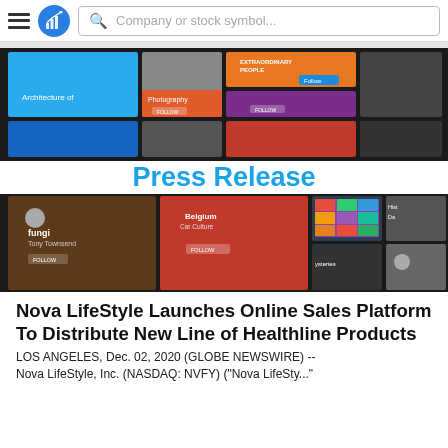Company or stock symbol...
[Figure (screenshot): Tablet/app screenshot showing a colorful social media or content feed interface with tiles in blue, orange, purple, and other colors, showing photography, architecture, and other content categories]
Press Release
[Figure (screenshot): Tablet/app screenshot showing a colorful social media or content feed interface with tiles in brown, red, and dark tones, showing fungi, Belgium, and other content categories]
Nova LifeStyle Launches Online Sales Platform To Distribute New Line of Healthline Products
LOS ANGELES, Dec. 02, 2020 (GLOBE NEWSWIRE) -- Nova LifeStyle, Inc. (NASDAQ: NVFY) ("Nova LifeSty..."